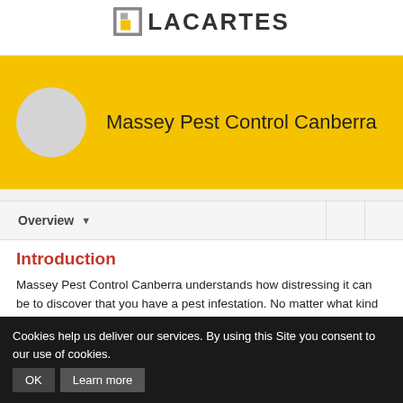LACARTES
[Figure (logo): Lacartes logo with geometric square-bracket icon in gray and yellow, and LACARTES text in bold dark gray]
Massey Pest Control Canberra
Overview
Introduction
Massey Pest Control Canberra understands how distressing it can be to discover that you have a pest infestation. No matter what kind of pest you have or the area of your home infested, our very skilled pest exterminator can help you exterminate it. Our pest removal costs are reasonable, and our pest control professionals can respond to all pest problems on the same day! Our pest control professionals can reach you within several hours! Our expert pest exterminators will arrive at your door within hours with the best customer service Canberra offers and...
Cookies help us deliver our services. By using this Site you consent to our use of cookies. OK Learn more